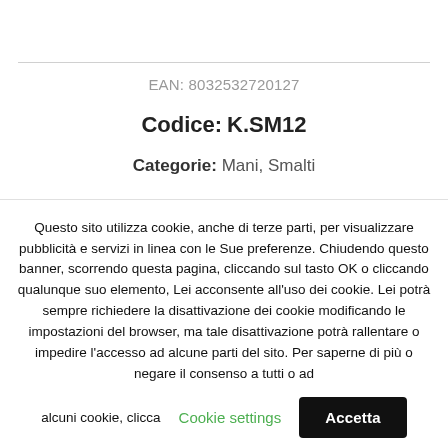EAN: 8032532720127
Codice: K.SM12
Categorie: Mani, Smalti
Questo sito utilizza cookie, anche di terze parti, per visualizzare pubblicità e servizi in linea con le Sue preferenze. Chiudendo questo banner, scorrendo questa pagina, cliccando sul tasto OK o cliccando qualunque suo elemento, Lei acconsente all'uso dei cookie. Lei potrà sempre richiedere la disattivazione dei cookie modificando le impostazioni del browser, ma tale disattivazione potrà rallentare o impedire l'accesso ad alcune parti del sito. Per saperne di più o negare il consenso a tutti o ad alcuni cookie, clicca
Cookie settings
Accetta